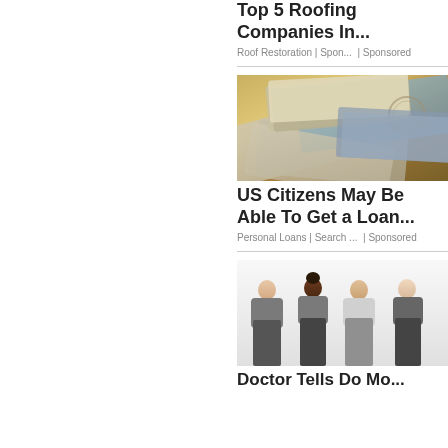Top 5 Roofing Companies In...
Roof Restoration | Spon...  | Sponsored
[Figure (photo): Stack of US dollar bills and cash spread out]
US Citizens May Be Able To Get a Loan...
Personal Loans | Search ...  | Sponsored
[Figure (photo): Four women in athletic wear smiling together]
Doctor Tells Do Mo...